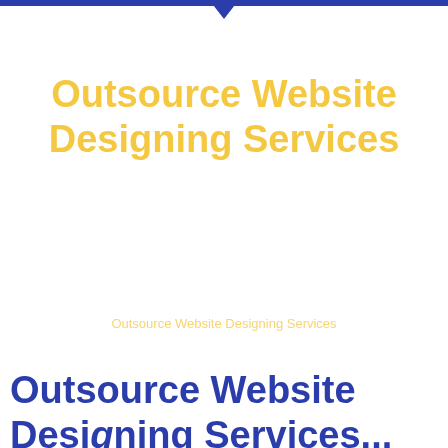Outsource Website Designing Services
Outsource Website Designing Services
Outsource Website Designing Services